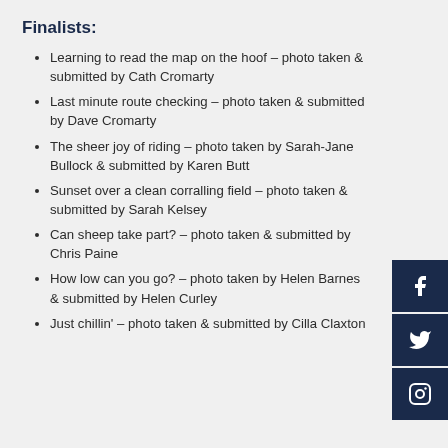Finalists:
Learning to read the map on the hoof – photo taken & submitted by Cath Cromarty
Last minute route checking – photo taken & submitted by Dave Cromarty
The sheer joy of riding – photo taken by Sarah-Jane Bullock & submitted by Karen Butt
Sunset over a clean corralling field – photo taken & submitted by Sarah Kelsey
Can sheep take part? – photo taken & submitted by Chris Paine
How low can you go? – photo taken by Helen Barnes & submitted by Helen Curley
Just chillin' – photo taken & submitted by Cilla Claxton